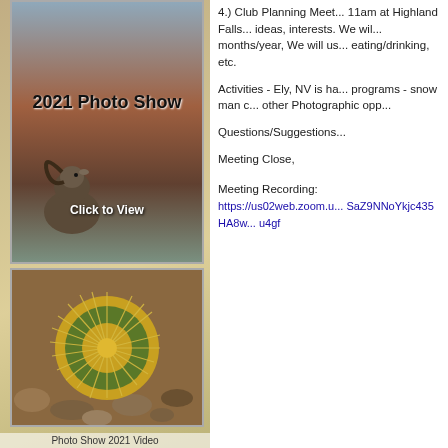[Figure (photo): 2021 Photo Show image with bighorn sheep and canyon background, with text '2021 Photo Show' and 'Click to View']
[Figure (photo): Close-up photo of a round barrel cactus from above showing spines and rocky surroundings]
Photo Show 2021 Video
4.) Club Planning Meet... 11am at Highland Falls... ideas, interests. We wil... months/year, We will us... eating/drinking, etc.
Activities - Ely, NV is ha... programs - snow man c... other Photographic opp...
Questions/Suggestions...
Meeting Close,
Meeting Recording: https://us02web.zoom.u... SaZ9NNoYkjc435HA8w... u4gf
Access Passcode: 8U...